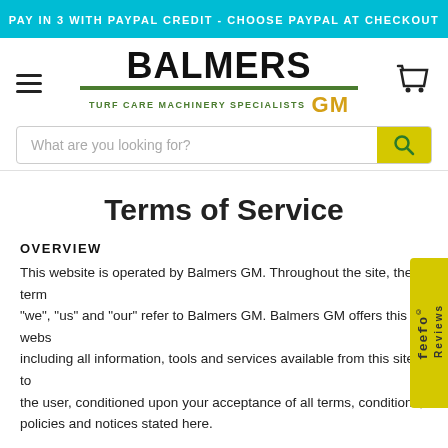PAY IN 3 WITH PAYPAL CREDIT - CHOOSE PAYPAL AT CHECKOUT
[Figure (logo): Balmers GM - Turf Care Machinery Specialists logo with hamburger menu and cart icon]
What are you looking for?
Terms of Service
OVERVIEW
This website is operated by Balmers GM. Throughout the site, the terms "we", "us" and "our" refer to Balmers GM. Balmers GM offers this website, including all information, tools and services available from this site to you, the user, conditioned upon your acceptance of all terms, conditions, policies and notices stated here.